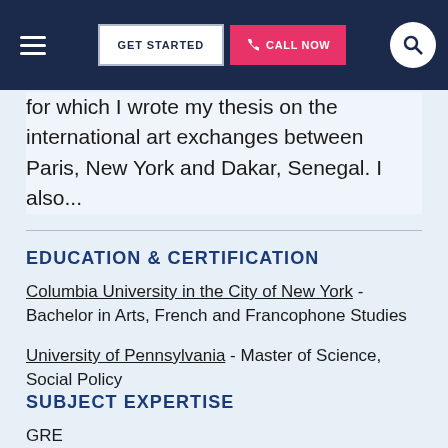GET STARTED | CALL NOW
for which I wrote my thesis on the international art exchanges between Paris, New York and Dakar, Senegal. I also...
EDUCATION & CERTIFICATION
Columbia University in the City of New York - Bachelor in Arts, French and Francophone Studies
University of Pennsylvania - Master of Science, Social Policy
SUBJECT EXPERTISE
GRE
Phonics
Comparative Literature